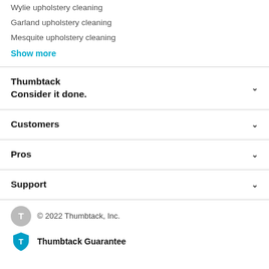Wylie upholstery cleaning
Garland upholstery cleaning
Mesquite upholstery cleaning
Show more
Thumbtack
Consider it done.
Customers
Pros
Support
© 2022 Thumbtack, Inc.
Thumbtack Guarantee